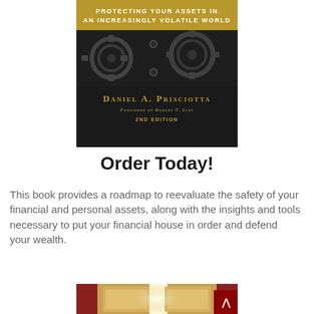[Figure (photo): Book cover of 'Protecting Your Assets in an Increasingly Volatile World' by Daniel A. Prisciotta, Foreword by Robert T. Slee, 2nd Edition. Dark background with machinery/gears imagery and gold banner at top with title text.]
Order Today!
This book provides a roadmap to reevaluate the safety of your financial and personal assets, along with the insights and tools necessary to put your financial house in order and defend your wealth.
[Figure (photo): Partial image of a doorway with warm golden/cream colored door panels and red wall visible, bright light coming through the open door.]